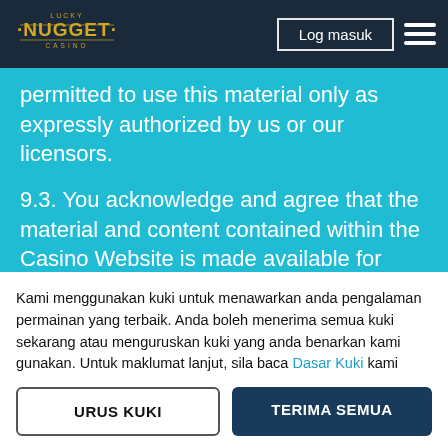[Figure (logo): Lucky Nugget Casino logo — gold text on dark navy background with decorative elements]
permitted to use this material only as expressly authorized by us or our licensors.
9.3. You acknowledge and agree that the material and content contained within the Casino Website is made available for your personal non-commercial use only and that you may download such material and content onto only one computer hard drive for such purpose. Any other use of such material and content is strictly prohibited. You
Kami menggunakan kuki untuk menawarkan anda pengalaman permainan yang terbaik. Anda boleh menerima semua kuki sekarang atau menguruskan kuki yang anda benarkan kami gunakan. Untuk maklumat lanjut, sila baca Dasar Kuki kami
URUS KUKI
TERIMA SEMUA